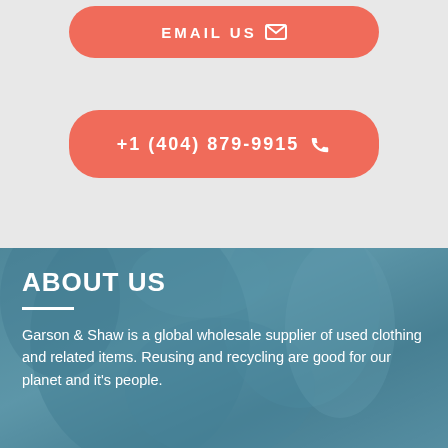[Figure (other): Email Us button — coral/salmon rounded button with white text 'EMAIL US' and envelope icon]
[Figure (other): Phone button — coral/salmon rounded button with white text '+1 (404) 879-9915' and phone icon]
[Figure (photo): Background photo of folded blue/teal used clothing with a teal color overlay]
ABOUT US
Garson & Shaw is a global wholesale supplier of used clothing and related items. Reusing and recycling are good for our planet and it's people.